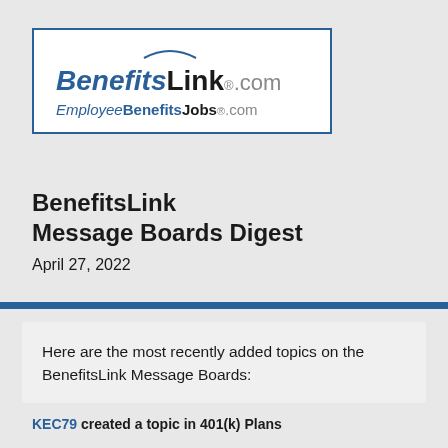[Figure (logo): BenefitsLink.com and EmployeeBenefitsJobs.com logo inside a blue-bordered white box]
BenefitsLink Message Boards Digest
April 27, 2022
Here are the most recently added topics on the BenefitsLink Message Boards:
KEC79 created a topic in 401(k) Plans